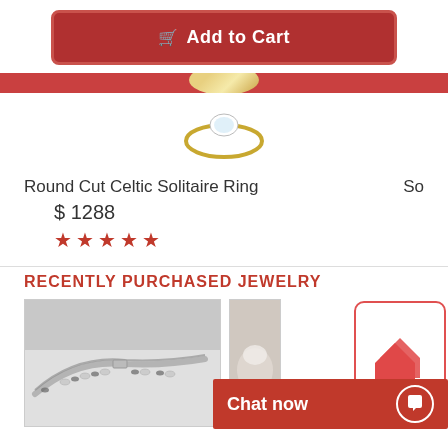[Figure (screenshot): Add to Cart button with red background and cart icon]
[Figure (photo): Partial view of a ring with gemstone peeking above red bar]
Round Cut Celtic Solitaire Ring
$ 1288
★★★★★
So
RECENTLY PURCHASED JEWELRY
[Figure (photo): Diamond tennis bracelet on light grey background]
[Figure (photo): Partial view of pearl jewelry]
Chat now